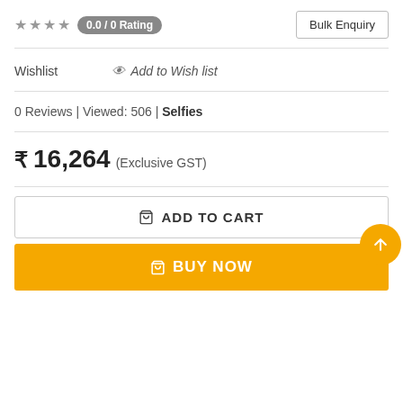★★★★ 0.0 / 0 Rating
Bulk Enquiry
Wishlist  👁 Add to Wish list
0 Reviews | Viewed: 506 | Selfies
₹ 16,264 (Exclusive GST)
🛒 ADD TO CART
🛒 BUY NOW